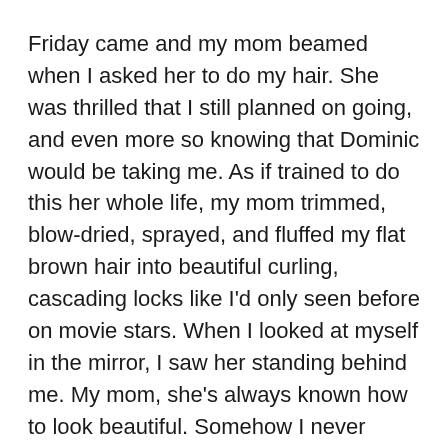Friday came and my mom beamed when I asked her to do my hair. She was thrilled that I still planned on going, and even more so knowing that Dominic would be taking me. As if trained to do this her whole life, my mom trimmed, blow-dried, sprayed, and fluffed my flat brown hair into beautiful curling, cascading locks like I'd only seen before on movie stars. When I looked at myself in the mirror, I saw her standing behind me. My mom, she's always known how to look beautiful. Somehow I never noticed so much before. I never realized just how much I look like her.
We powdered my fair skin and colored my cheeks. I outlined my eyes in black and silver and accented them with light pink. My mom wrapped a black, lace doily